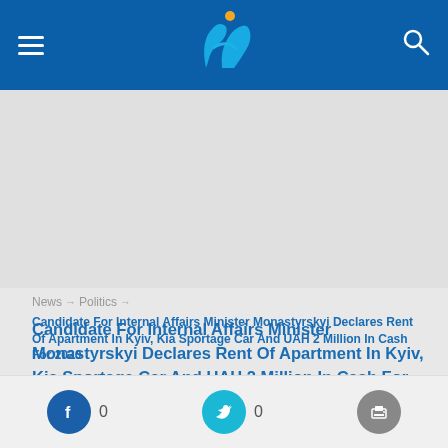Ukraine Interfax News Header
[Figure (other): Advertisement placeholder area, light gray background]
News → Politics → Candidate For Internal Affairs Minister Monastyrskyi Declares Rent Of Apartment In Kyiv, Kia Sportage Car And UAH 2 Million In Cash For 2020
Candidate For Internal Affairs Minister Monastyrskyi Declares Rent Of Apartment In Kyiv, Kia Sportage Car And UAH 2 Million In Cash For 2020
[Figure (other): Social sharing bar with Facebook (0), Twitter (0), and Print icons]